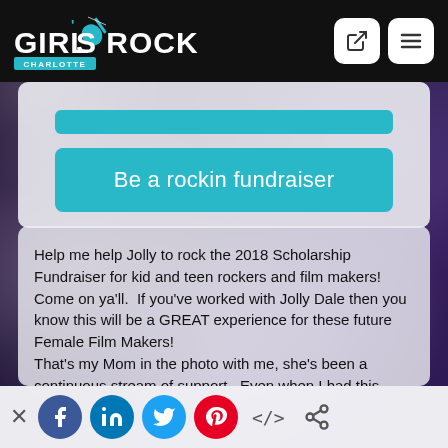Girls Rock Charlotte
[Figure (screenshot): Teal button partially visible at top of card]
Be a rockin fundraiser
Help me help Jolly to rock the 2018 Scholarship Fundraiser for kid and teen rockers and film makers! Come on ya'll.  If you've worked with Jolly Dale then you know this will be a GREAT experience for these future Female Film Makers!
That's my Mom in the photo with me, she's been a continuous stream of support.  Even when I had this crazy idea to work in film.  Some girls don't get this support.  So...  help us give a girl the chance to realize a dream.
Thank You
[Figure (screenshot): Social sharing bar with Facebook, LinkedIn, Twitter, Pinterest, code embed and share link icons]